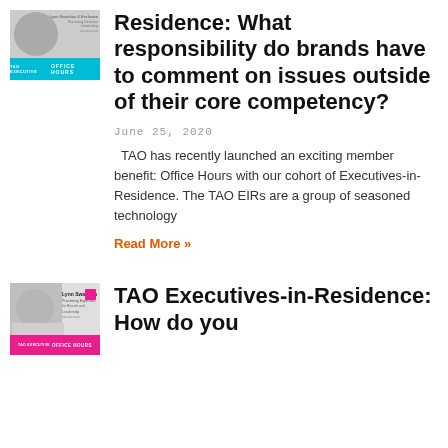[Figure (photo): Thumbnail image for article about Executives-in-Residence Office Hours with a person photo and cyan badge]
Residence: What responsibility do brands have to comment on issues outside of their core competency?
June 25, 2020
TAO has recently launched an exciting member benefit: Office Hours with our cohort of Executives-in-Residence. The TAO EIRs are a group of seasoned technology
Read More »
[Figure (photo): Thumbnail image for second article with Lynn Swanhan name tag, pink square badge, and magenta Office Hours badge]
TAO Executives-in-Residence: How do you